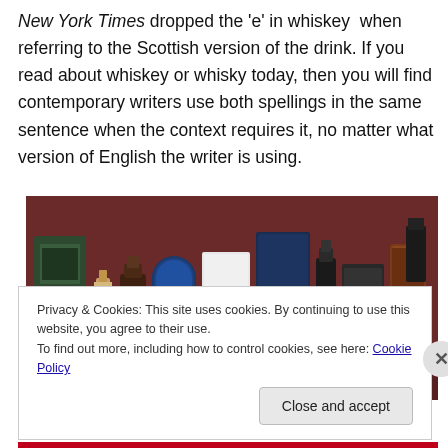New York Times dropped the 'e' in whiskey when referring to the Scottish version of the drink. If you read about whiskey or whisky today, then you will find contemporary writers use both spellings in the same sentence when the context requires it, no matter what version of English the writer is using.
[Figure (photo): A row of whisky/whiskey bottles and tins of various shapes, sizes and colors on a dark reddish-brown background, including a Laphroaig tin.]
Privacy & Cookies: This site uses cookies. By continuing to use this website, you agree to their use.
To find out more, including how to control cookies, see here: Cookie Policy
Close and accept